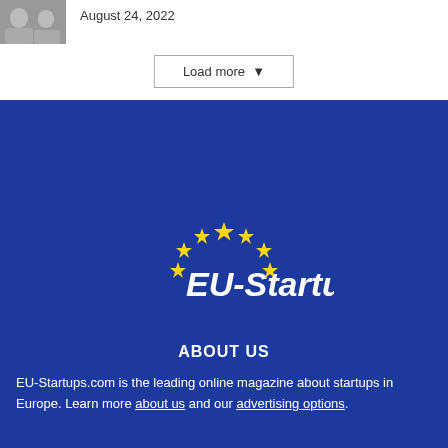[Figure (photo): Small thumbnail photo of people]
August 24, 2022
Load more ▾
[Figure (logo): EU-Startups logo with yellow stars arranged in EU flag arc pattern and white italic text 'EU-Startups' on dark blue background]
ABOUT US
EU-Startups.com is the leading online magazine about startups in Europe. Learn more about us and our advertising options.
FOLLOW US